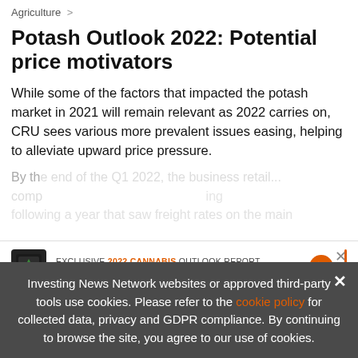Agriculture >
Potash Outlook 2022: Potential price motivators
While some of the factors that impacted the potash market in 2021 will remain relevant as 2022 carries on, CRU sees various more prevalent issues easing, helping to alleviate upward price pressure.
By th... end of the Q1 2022, the business retail... comp... ing following a year that saw freight rates on the main
[Figure (infographic): Advertisement banner: EXCLUSIVE 2022 CANNABIS OUTLOOK REPORT. TRENDS. FORECASTS. TOP STOCKS. Orange arrow button. Cannabis book icon.]
Investing News Network websites or approved third-party tools use cookies. Please refer to the cookie policy for collected data, privacy and GDPR compliance. By continuing to browse the site, you agree to our use of cookies.